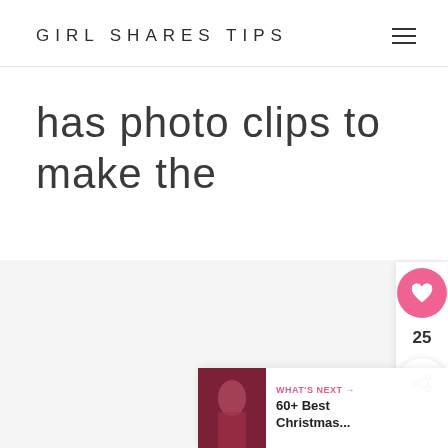GIRL SHARES TIPS
has photo clips to make the wall much prettier!
[Figure (photo): Light gray placeholder image area at bottom of page]
25
WHAT'S NEXT → 60+ Best Christmas...